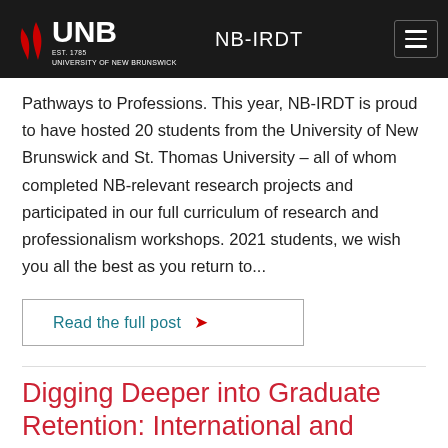UNB | NB-IRDT
Pathways to Professions. This year, NB-IRDT is proud to have hosted 20 students from the University of New Brunswick and St. Thomas University – all of whom completed NB-relevant research projects and participated in our full curriculum of research and professionalism workshops. 2021 students, we wish you all the best as you return to...
Read the full post ❯
Digging Deeper into Graduate Retention: International and